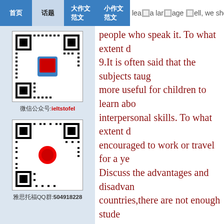Navigation bar with tabs and partial text: learn a language well, we should also
[Figure (other): QR code image for WeChat account ieltstofel]
微信公众号:ieltstofel
[Figure (other): QR code image for QQ group 504918228]
雅思托福QQ群:504918228
people who speak it. To what extent d 9.It is often said that the subjects taug more useful for children to learn abo interpersonal skills. To what extent d encouraged to work or travel for a ye Discuss the advantages and disadvan countries,there are not enough stude this problem? What're the effects on t of the school program. To what exter 10.Many people say that we have dev environment with so many plastic ba you agree with this opinion? ❶Nowad they are broken, whereas in the past c the case? What problems will this lea and individual people to address. We environment is at an international le